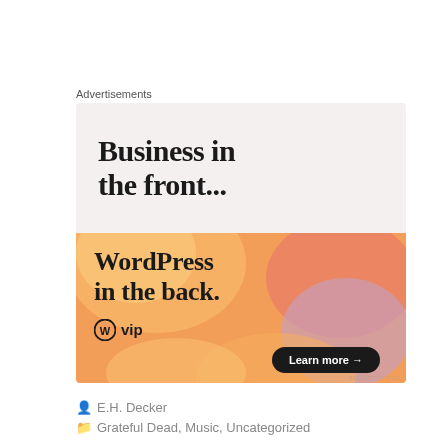Advertisements
[Figure (illustration): WordPress VIP advertisement banner. Top half has light pinkish-gray background with bold serif text 'Business in the front...' in dark color. Bottom half has colorful orange/peach/lavender gradient background with circular blob shapes and bold serif text 'WordPress in the back.' with WordPress W logo and 'vip' text on lower left, and a dark 'Learn more →' button on lower right. Small 'REPORT THIS AD' text in bottom right corner.]
E.H. Decker
Grateful Dead, Music, Uncategorized